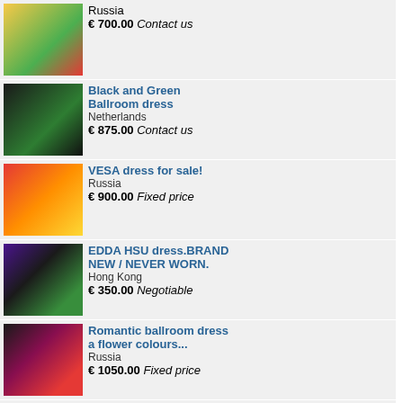Site name | Category
Russia
€ 700.00 Contact us
Black and Green Ballroom dress
Netherlands
€ 875.00 Contact us
VESA dress for sale!
Russia
€ 900.00 Fixed price
EDDA HSU dress.BRAND NEW / NEVER WORN.
Hong Kong
€ 350.00 Negotiable
Romantic ballroom dress a flower colours...
Russia
€ 1050.00 Fixed price
Stylish ARTI design ballroom dress
Russia
€ 1050.00 Fixed price
Dresses / Tail Suits
Great Latin Dress
United States
€ 1650.00 Negotiable
Size: XS/ S
VESA DRESS
France
€ 1000.00 Fixed price
Size: S
Vesa Latin Dance Dress - pink
Switzerland
€ 999.00 Negotiable
Size: Small
Ballroom dress for sale